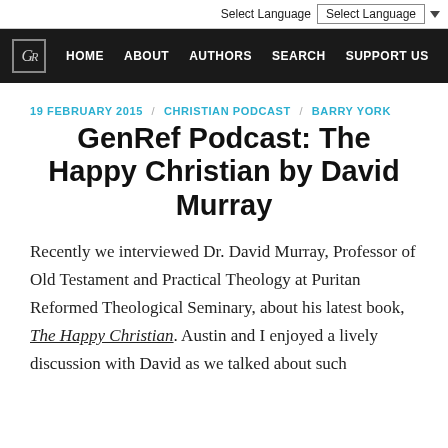Select Language | ▼  GR  HOME  ABOUT  AUTHORS  SEARCH  SUPPORT US
19 FEBRUARY 2015 / CHRISTIAN PODCAST / BARRY YORK
GenRef Podcast: The Happy Christian by David Murray
Recently we interviewed Dr. David Murray, Professor of Old Testament and Practical Theology at Puritan Reformed Theological Seminary, about his latest book, The Happy Christian. Austin and I enjoyed a lively discussion with David as we talked about such